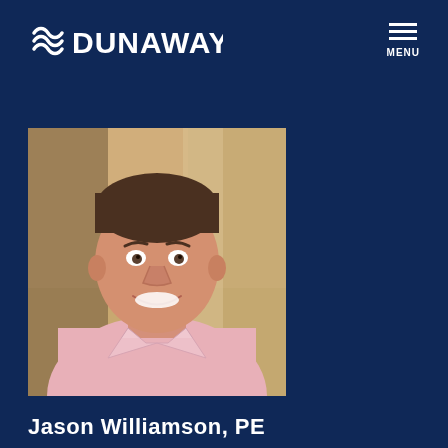[Figure (logo): Dunaway company logo with wave symbol in white on dark navy background]
[Figure (photo): Professional headshot of Jason Williamson, PE — a smiling man in a pink/white checkered shirt with short brown hair, posed in an office or indoor setting]
Jason Williamson, PE